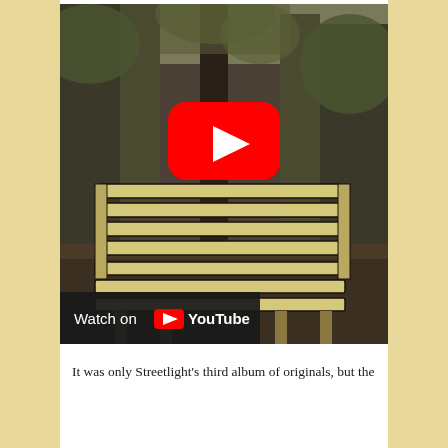[Figure (screenshot): A YouTube video embed showing a park bench in a wooded area. The bench has light-colored wooden slats against trees and foliage background. A red YouTube play button is centered on the image. At the bottom a dark bar reads 'Watch on YouTube' with the YouTube logo.]
It was only Streetlight's third album of originals, but the...